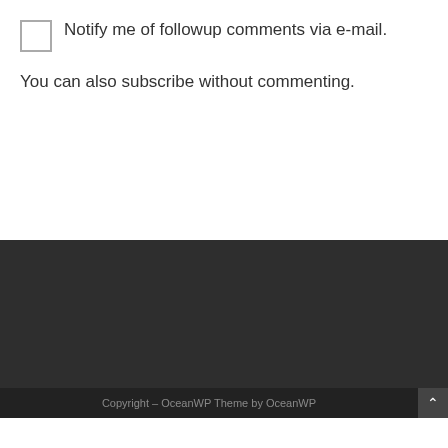Notify me of followup comments via e-mail. You can also subscribe without commenting.
POST COMMENT
Copyright – OceanWP Theme by OceanWP